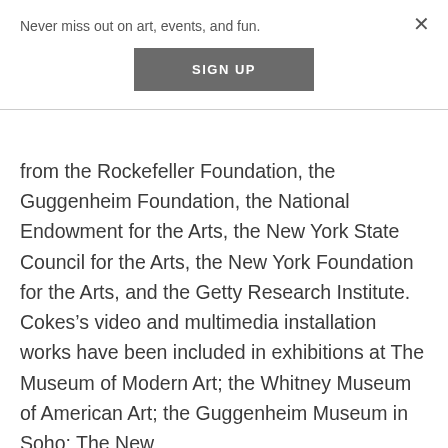Never miss out on art, events, and fun.
SIGN UP
from the Rockefeller Foundation, the Guggenheim Foundation, the National Endowment for the Arts, the New York State Council for the Arts, the New York Foundation for the Arts, and the Getty Research Institute. Cokes’s video and multimedia installation works have been included in exhibitions at The Museum of Modern Art; the Whitney Museum of American Art; the Guggenheim Museum in Soho; The New